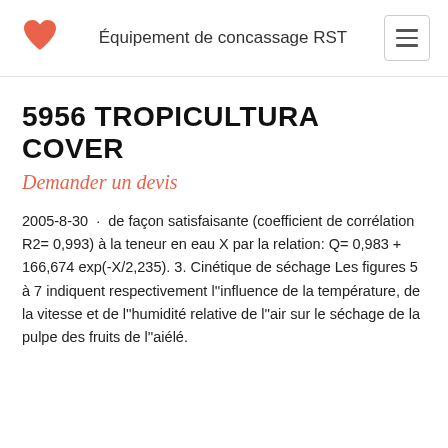Équipement de concassage RST
5956 TROPICULTURA COVER
Demander un devis
2005-8-30 · de façon satisfaisante (coefficient de corrélation R2= 0,993) à la teneur en eau X par la relation: Q= 0,983 + 166,674 exp(-X/2,235). 3. Cinétique de séchage Les figures 5 à 7 indiquent respectivement l''influence de la température, de la vitesse et de l''humidité relative de l''air sur le séchage de la pulpe des fruits de l''aiélé.